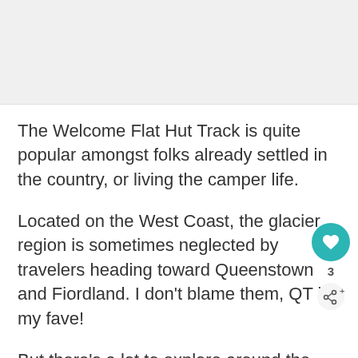[Figure (photo): Partial image placeholder at top of page, light gray background]
The Welcome Flat Hut Track is quite popular amongst folks already settled in the country, or living the camper life.
Located on the West Coast, the glacier region is sometimes neglected by travelers heading toward Queenstown and Fiordland. I don't blame them, QT is my fave!
But there's a lot to explore around the West Coast too, so I wanted to share this